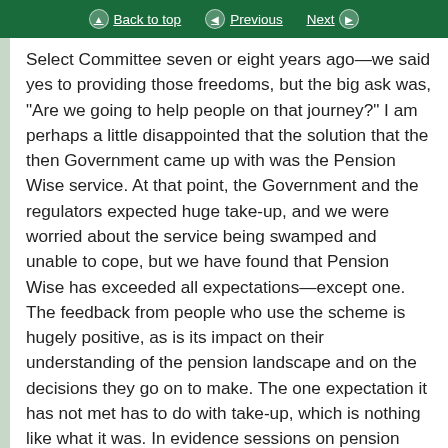Back to top | Previous | Next
Select Committee seven or eight years ago—we said yes to providing those freedoms, but the big ask was, "Are we going to help people on that journey?" I am perhaps a little disappointed that the solution that the then Government came up with was the Pension Wise service. At that point, the Government and the regulators expected huge take-up, and we were worried about the service being swamped and unable to cope, but we have found that Pension Wise has exceeded all expectations—except one. The feedback from people who use the scheme is hugely positive, as is its impact on their understanding of the pension landscape and on the decisions they go on to make. The one expectation it has not met has to do with take-up, which is nothing like what it was. In evidence sessions on pension